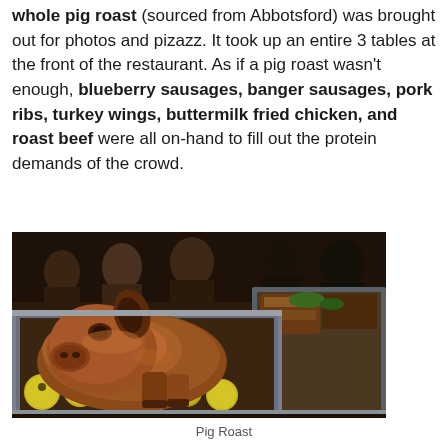whole pig roast (sourced from Abbotsford) was brought out for photos and pizazz. It took up an entire 3 tables at the front of the restaurant. As if a pig roast wasn't enough, blueberry sausages, banger sausages, pork ribs, turkey wings, buttermilk fried chicken, and roast beef were all on-hand to fill out the protein demands of the crowd.
[Figure (photo): A whole roasted pig displayed in a large metal roasting pan, surrounded by yellow/green apples or similar fruits. The pig's head is prominently visible. In the background, other food items and restaurant patrons can be seen in a dimly lit restaurant setting.]
Pig Roast